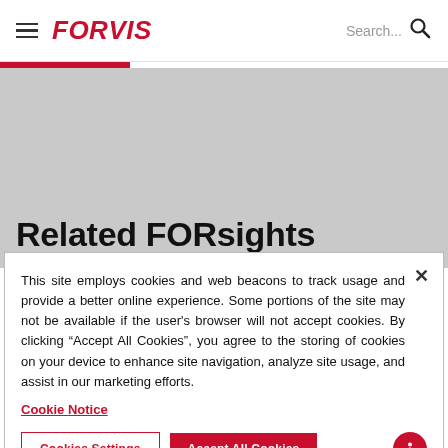FORVIS — Search navigation header
Related FORsights
This site employs cookies and web beacons to track usage and provide a better online experience. Some portions of the site may not be available if the user's browser will not accept cookies. By clicking "Accept All Cookies", you agree to the storing of cookies on your device to enhance site navigation, analyze site usage, and assist in our marketing efforts.
Cookie Notice
Cookies Settings
Accept All Cookies